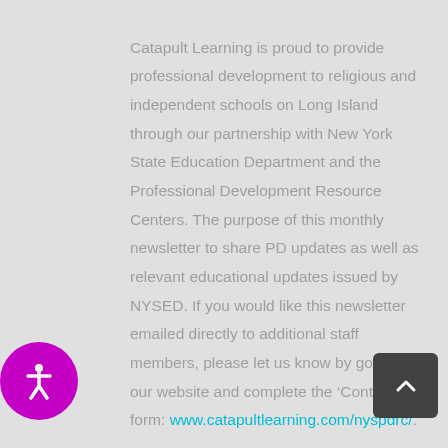Catapult Learning is proud to provide professional development to religious and independent schools on Long Island through our partnership with New York State Education Department and the Professional Development Resource Centers. The purpose of this monthly newsletter to share PD updates as well as relevant educational updates issued by NYSED. If you would like this newsletter emailed directly to additional staff members, please let us know by going to our website and complete the ‘Contact Us’ form: www.catapultlearning.com/nyspdrc/.